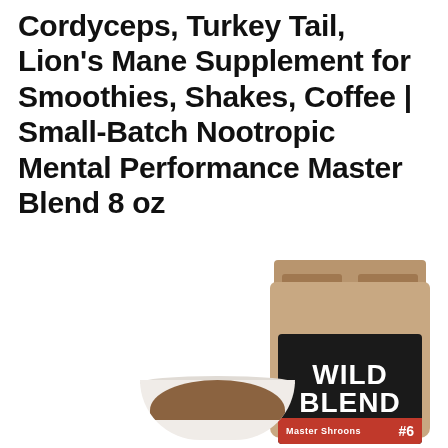Cordyceps, Turkey Tail, Lion's Mane Supplement for Smoothies, Shakes, Coffee | Small-Batch Nootropic Mental Performance Master Blend 8 oz
[Figure (photo): Product photo showing a kraft paper pouch with a black label reading 'WILD BLEND #6 Master Shroons' and a small bowl of brown mushroom powder in front of it]